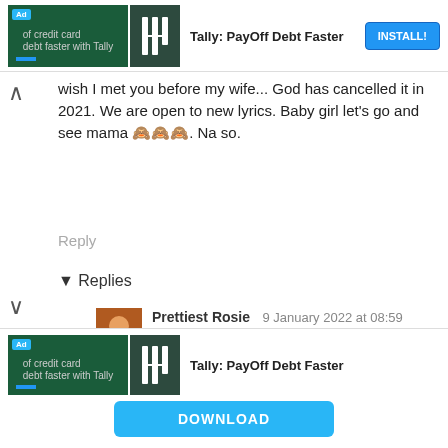[Figure (screenshot): Ad banner at top: Tally PayOff Debt Faster app advertisement with INSTALL! button]
wish I met you before my wife... God has cancelled it in 2021. We are open to new lyrics. Baby girl let's go and see mama 🙈🙈🙈. Na so.
Reply
▾ Replies
Prettiest Rosie  9 January 2022 at 08:59
Amen for you 😂😂😂
Pretty Patience  9 January 2022 at 09:51
Amen for me😊
[Figure (screenshot): Ad banner at bottom: Tally PayOff Debt Faster app advertisement with DOWNLOAD button]